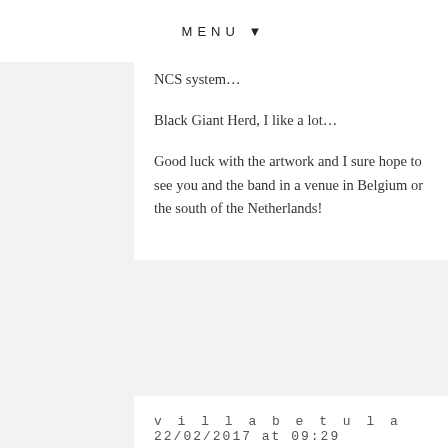MENU ▼
NCS system…
Black Giant Herd, I like a lot…
Good luck with the artwork and I sure hope to see you and the band in a venue in Belgium or the south of the Netherlands!
villabetula   22/02/2017 at 09:29
Oh, you had big hopes for the codes! Well, the codes you got is just on the green and mulberry I have, and they are